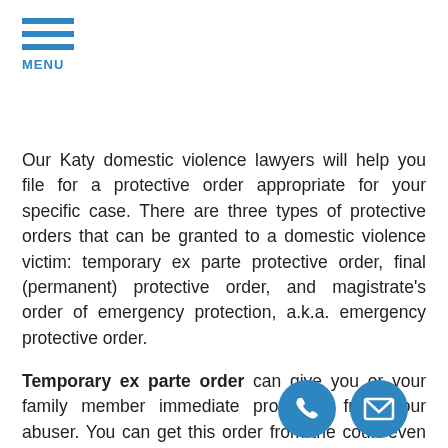MENU
Our Katy domestic violence lawyers will help you file for a protective order appropriate for your specific case. There are three types of protective orders that can be granted to a domestic violence victim: temporary ex parte protective order, final (permanent) protective order, and magistrate's order of emergency protection, a.k.a. emergency protective order.
Temporary ex parte order can give you or your family member immediate protection from your abuser. You can get this order from the court even without the presence of the abuser. This usually lasts for up to 20 days but can be extended if you request it or if the abuser has not been served yet.